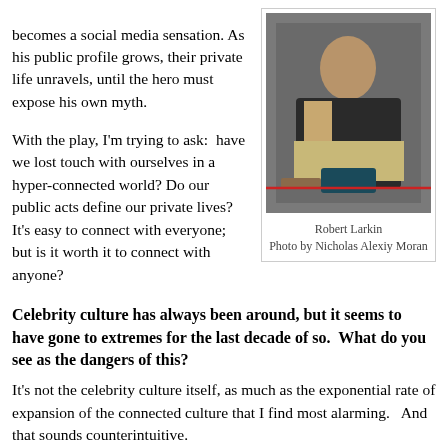becomes a social media sensation. As his public profile grows, their private life unravels, until the hero must expose his own myth.
[Figure (photo): Robert Larkin kneeling on floor, photo by Nicholas Alexiy Moran]
Robert Larkin
Photo by Nicholas Alexiy Moran
With the play, I’m trying to ask:  have we lost touch with ourselves in a hyper-connected world? Do our public acts define our private lives? It’s easy to connect with everyone; but is it worth it to connect with anyone?
Celebrity culture has always been around, but it seems to have gone to extremes for the last decade of so.  What do you see as the dangers of this?
It’s not the celebrity culture itself, as much as the exponential rate of expansion of the connected culture that I find most alarming.   And that sounds counterintuitive.
The democratization of fame seems like it is a good
[Figure (photo): Dark photo with orange/red lighting, partially visible]